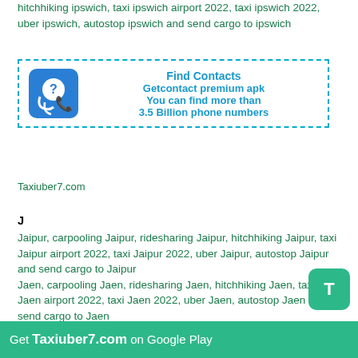hitchhiking ipswich, taxi ipswich airport 2022, taxi ipswich 2022, uber ipswich, autostop ipswich and send cargo to ipswich
[Figure (other): Advertisement box with dashed blue border showing a phone icon with question mark and text: Find Contacts, Getcontact premium apk, You can find more than 3.5 Billion phone numbers]
Taxiuber7.com
J
Jaipur, carpooling Jaipur, ridesharing Jaipur, hitchhiking Jaipur, taxi Jaipur airport 2022, taxi Jaipur 2022, uber Jaipur, autostop Jaipur and send cargo to Jaipur
Jaen, carpooling Jaen, ridesharing Jaen, hitchhiking Jaen, taxi Jaen airport 2022, taxi Jaen 2022, uber Jaen, autostop Jaen and send cargo to Jaen
Jerez, carpooling Jerez, ridesharing Jerez, hitchhiking Jerez, taxi Jerez airport 2022, taxi Jerez 2022, uber Jerez, autostop Jerez and send cargo to Jerez
Jersey, carpooling Jersey, ridesharing Jersey, hitchhiking jersey, taxi jersey airport 2022, taxi...
Get Taxiuber7.com on Google Play